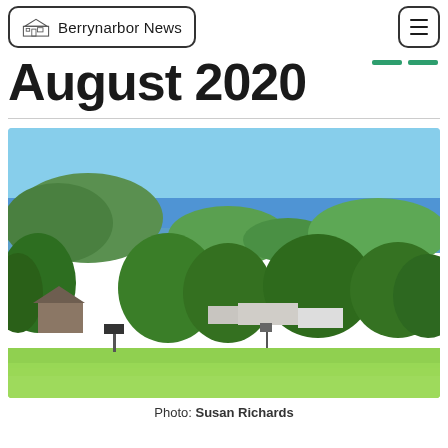Berrynarbor News
August 2020
[Figure (photo): Scenic coastal landscape photograph showing green hills, trees, a bay with boats, rocky headlands, and blue sea under a clear sky, with a caravan/camping site in the foreground and lush green grass.]
Photo: Susan Richards